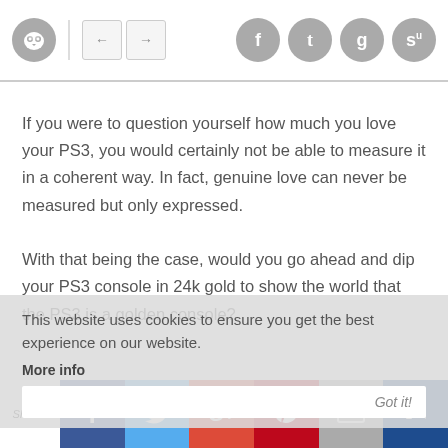Navigation header with owl logo, back/forward arrows, and social share icons (Facebook, Twitter, Google+, StumbleUpon)
If you were to question yourself how much you love your PS3, you would certainly not be able to measure it in a coherent way. In fact, genuine love can never be measured but only expressed. With that being the case, would you go ahead and dip your PS3 console in 24k gold to show the world that the PS3 is a golden console?
This website uses cookies to ensure you get the best experience on our website. More info
Got it!
Shares | Facebook | Twitter | Google+ | Pinterest | Email | Bookmark